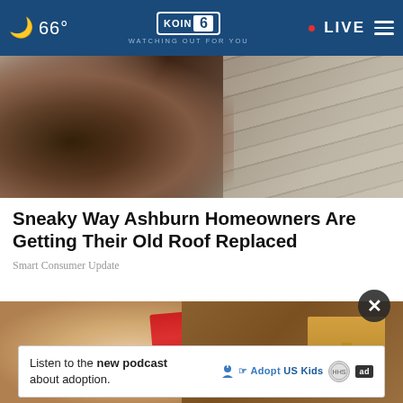66° KOIN 6 WATCHING OUT FOR YOU • LIVE
[Figure (photo): Aerial or close-up view of damaged roof shingles and debris, some old broken shingles visible]
Sneaky Way Ashburn Homeowners Are Getting Their Old Roof Replaced
Smart Consumer Update
[Figure (photo): Person's hand pulling a Crayola crayon from a wallet with money inside]
Listen to the new podcast about adoption.